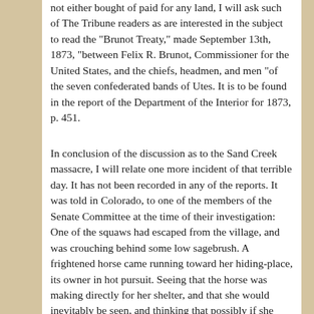not either bought of paid for any land, I will ask such of The Tribune readers as are interested in the subject to read the "Brunot Treaty," made September 13th, 1873, "between Felix R. Brunot, Commissioner for the United States, and the chiefs, headmen, and men "of the seven confederated bands of Utes. It is to be found in the report of the Department of the Interior for 1873, p. 451.
In conclusion of the discussion as to the Sand Creek massacre, I will relate one more incident of that terrible day. It has not been recorded in any of the reports. It was told in Colorado, to one of the members of the Senate Committee at the time of their investigation: One of the squaws had escaped from the village, and was crouching behind some low sagebrush. A frightened horse came running toward her hiding-place, its owner in hot pursuit. Seeing that the horse was making directly for her shelter, and that she would inevitably be seen, and thinking that possibly if she caught the horse, and gave him back to the owner, she